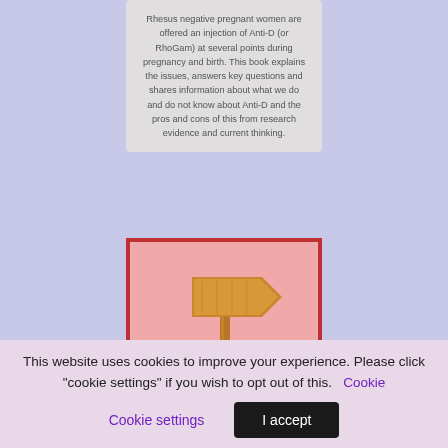Rhesus negative pregnant women are offered an injection of Anti-D (or RhoGam) at several points during pregnancy and birth. This book explains the issues, answers key questions and shares information about what we do and do not know about Anti-D and the pros and cons of this from research evidence and current thinking.
[Figure (illustration): A wooden directional sign post illustration on a pink background with a red border.]
This website uses cookies to improve your experience. Please click "cookie settings" if you wish to opt out of this. Cookie settings | I accept